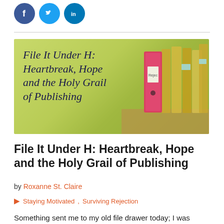[Figure (illustration): Three social media icon buttons: Facebook (blue circle with f), Twitter (light blue circle with bird), LinkedIn (blue circle with in)]
[Figure (photo): Banner image with yellow-green background showing binders/folders stacked, with serif italic text overlay reading 'File It Under H: Heartbreak, Hope and the Holy Grail of Publishing']
File It Under H: Heartbreak, Hope and the Holy Grail of Publishing
by Roxanne St. Claire
Staying Motivated, Surviving Rejection
Something sent me to my old file drawer today; I was